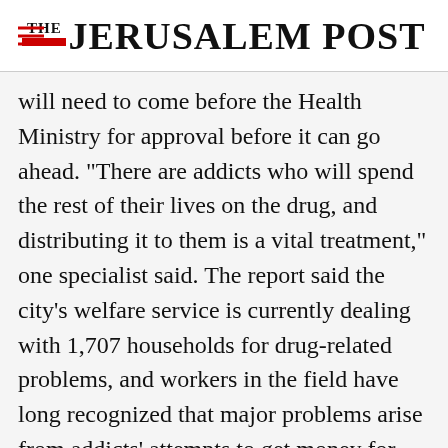THE JERUSALEM POST
will need to come before the Health Ministry for approval before it can go ahead. "There are addicts who will spend the rest of their lives on the drug, and distributing it to them is a vital treatment," one specialist said. The report said the city's welfare service is currently dealing with 1,707 households for drug-related problems, and workers in the field have long recognized that major problems arise from addicts' attempts to get money for drugs. Police statistics show that
Advertisement